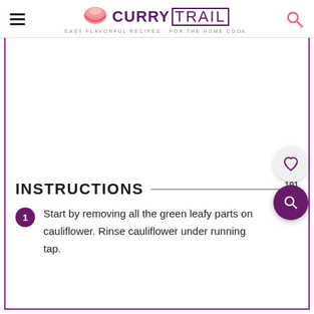CURRY TRAIL — EASY FLAVORFUL RECIPES FOR THE HOME COOK
[Figure (photo): Blank/white image area (photo placeholder for recipe)]
INSTRUCTIONS
Start by removing all the green leafy parts on cauliflower. Rinse cauliflower under running tap.